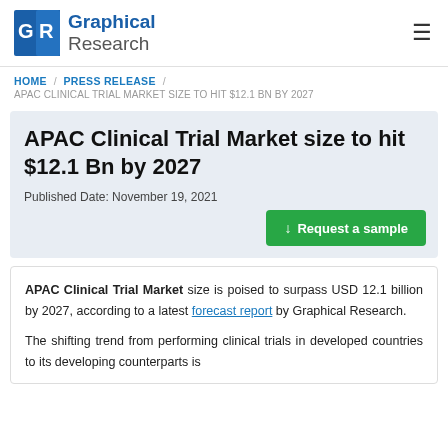Graphical Research
HOME / PRESS RELEASE / APAC CLINICAL TRIAL MARKET SIZE TO HIT $12.1 BN BY 2027
APAC Clinical Trial Market size to hit $12.1 Bn by 2027
Published Date: November 19, 2021
Request a sample
APAC Clinical Trial Market size is poised to surpass USD 12.1 billion by 2027, according to a latest forecast report by Graphical Research.
The shifting trend from performing clinical trials in developed countries to its developing counterparts is